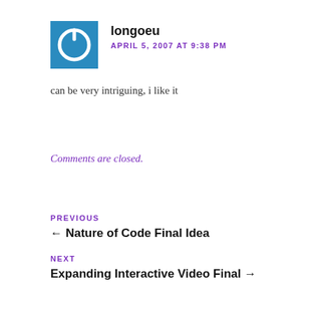[Figure (logo): Blue square avatar with white power button icon]
longoeu
APRIL 5, 2007 AT 9:38 PM
can be very intriguing, i like it
Comments are closed.
PREVIOUS
← Nature of Code Final Idea
NEXT
Expanding Interactive Video Final →